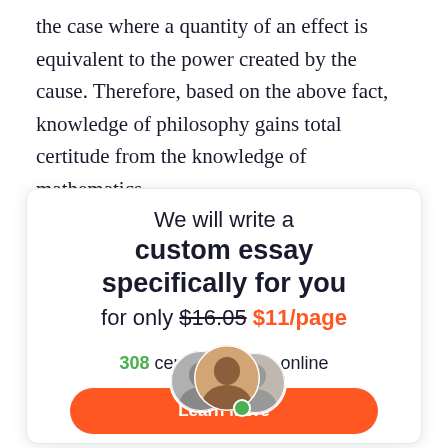the case where a quantity of an effect is equivalent to the power created by the cause. Therefore, based on the above fact, knowledge of philosophy gains total certitude from the knowledge of mathematics.
We will write a custom essay specifically for you for only $16.05 $11/page
[Figure (photo): Three overlapping circular avatar photos of writers with a green online indicator dot]
308 certified writers online